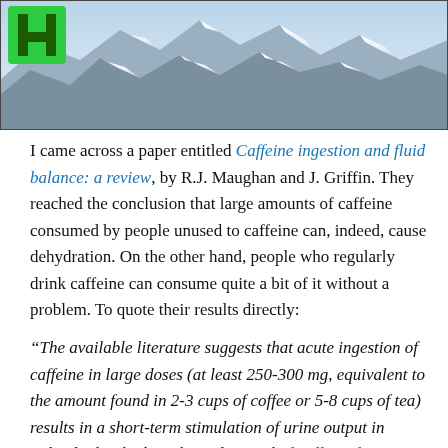[Figure (photo): Photo of snow-capped mountains with a green H logo/icon in the upper-left corner]
I came across a paper entitled Caffeine ingestion and fluid balance: a review, by R.J. Maughan and J. Griffin. They reached the conclusion that large amounts of caffeine consumed by people unused to caffeine can, indeed, cause dehydration. On the other hand, people who regularly drink caffeine can consume quite a bit of it without a problem. To quote their results directly:
“The available literature suggests that acute ingestion of caffeine in large doses (at least 250-300 mg, equivalent to the amount found in 2-3 cups of coffee or 5-8 cups of tea) results in a short-term stimulation of urine output in individuals who have been deprived of caffeine for a